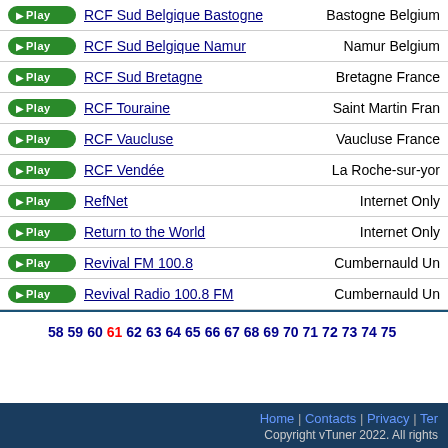RCF Sud Belgique Bastogne — Bastogne Belgium
RCF Sud Belgique Namur — Namur Belgium
RCF Sud Bretagne — Bretagne France
RCF Touraine — Saint Martin Fran...
RCF Vaucluse — Vaucluse France
RCF Vendée — La Roche-sur-yon
RefNet — Internet Only
Return to the World — Internet Only
Revival FM 100.8 — Cumbernauld Un...
Revival Radio 100.8 FM — Cumbernauld Un...
58 59 60 61 62 63 64 65 66 67 68 69 70 71 72 73 74 75
Home | Contacts | Privacy | Ter... Copyright vTuner 2022. All rights